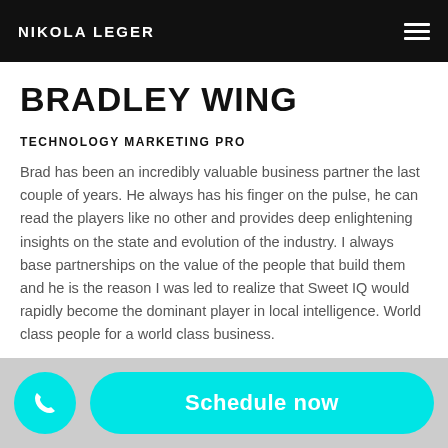NIKOLA LEGER
BRADLEY WING
TECHNOLOGY MARKETING PRO
Brad has been an incredibly valuable business partner the last couple of years. He always has his finger on the pulse, he can read the players like no other and provides deep enlightening insights on the state and evolution of the industry. I always base partnerships on the value of the people that build them and he is the reason I was led to realize that Sweet IQ would rapidly become the dominant player in local intelligence. World class people for a world class business.